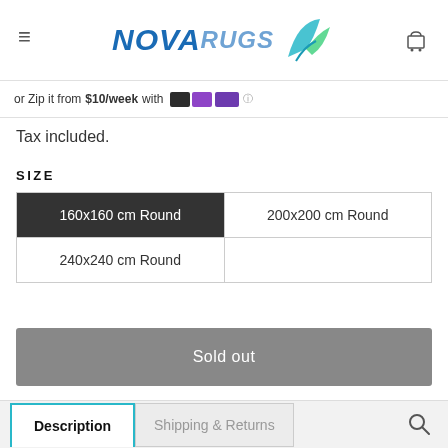NOVA RUGS
or Zip it from $10/week with [Zip logo]
Tax included.
SIZE
| 160x160 cm Round (selected) | 200x200 cm Round |
| 240x240 cm Round |  |
Sold out
Description	Shipping & Returns